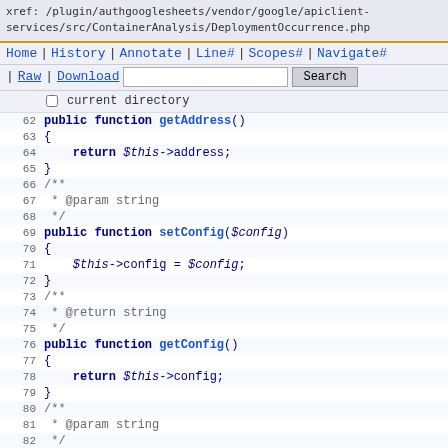xref: /plugin/authgooglesheets/vendor/google/apiclient-services/src/ContainerAnalysis/DeploymentOccurrence.php
Home | History | Annotate | Line# | Scopes# | Navigate# | Raw | Download  [search box] Search  current directory
62  public function getAddress()
63  {
64      return $this->address;
65  }
66  /**
67   * @param string
68   */
69  public function setConfig($config)
70  {
71      $this->config = $config;
72  }
73  /**
74   * @return string
75   */
76  public function getConfig()
77  {
78      return $this->config;
79  }
80  /**
81   * @param string
82   */
83  public function setDeployTime($deployTime)
84  {
85      $this->deployTime = $deployTime;